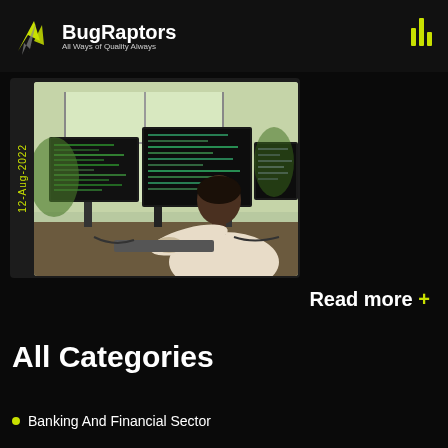BugRaptors — All Ways of Quality Always
An Insight into Oracle Fusion Patch Testing Readiness
12-Aug-2022
[Figure (photo): Person sitting at desk working on multiple monitors showing code/dark terminal screens, viewed from behind, near a window]
Read more +
All Categories
Banking And Financial Sector